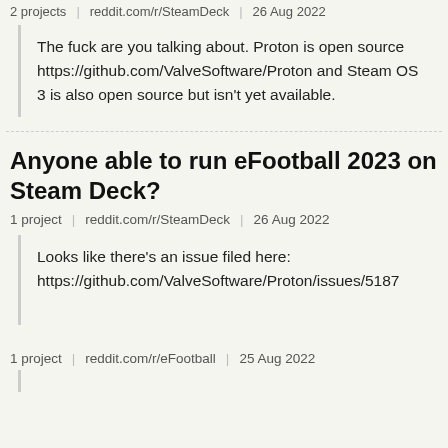2 projects | reddit.com/r/SteamDeck | 26 Aug 2022
The fuck are you talking about. Proton is open source https://github.com/ValveSoftware/Proton and Steam OS 3 is also open source but isn't yet available.
Anyone able to run eFootball 2023 on Steam Deck?
1 project | reddit.com/r/SteamDeck | 26 Aug 2022
Looks like there's an issue filed here: https://github.com/ValveSoftware/Proton/issues/5187
1 project | reddit.com/r/eFootball | 25 Aug 2022